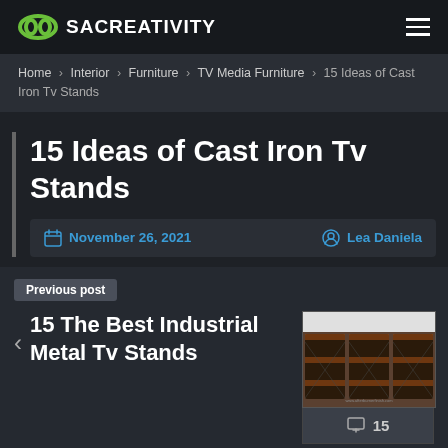SACREATIVITY
Home › Interior › Furniture › TV Media Furniture › 15 Ideas of Cast Iron Tv Stands
15 Ideas of Cast Iron Tv Stands
November 26, 2021   Lea Daniela
Previous post
15 The Best Industrial Metal Tv Stands
[Figure (photo): Thumbnail image of industrial metal TV stands]
15